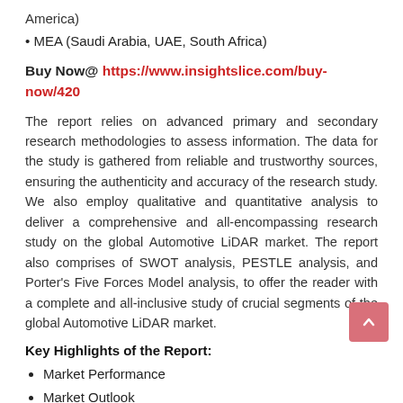America)
• MEA (Saudi Arabia, UAE, South Africa)
Buy Now@ https://www.insightslice.com/buy-now/420
The report relies on advanced primary and secondary research methodologies to assess information. The data for the study is gathered from reliable and trustworthy sources, ensuring the authenticity and accuracy of the research study. We also employ qualitative and quantitative analysis to deliver a comprehensive and all-encompassing research study on the global Automotive LiDAR market. The report also comprises of SWOT analysis, PESTLE analysis, and Porter's Five Forces Model analysis, to offer the reader with a complete and all-inclusive study of crucial segments of the global Automotive LiDAR market.
Key Highlights of the Report:
Market Performance
Market Outlook